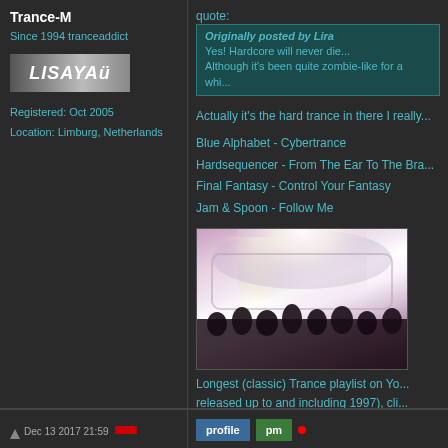Trance-M
Since 1994 tranceaddict
[Figure (logo): LISAYA avatar/logo image with stylized text on grey background]
Registered: Oct 2005
Location: Limburg, Netherlands
quote:
Originally posted by Lira
Yes! Hardcore will never die...
Although it's been quite zombie-like for a whi...
Actually it's the hard trance in there I really...
Blue Alphabet - Cybertrance
Hardsequencer - From The Ear To The Bra...
Final Fantasy - Control Your Fantasy
Jam & Spoon - Follow Me
[Figure (photo): Concert/rave photo showing a lit stage with crowd in foreground, purple/white lighting]
Longest (classic) Trance playlist on Yo... released up to and including 1997), cli...
Dec 13 2017 21:59
profile   pm